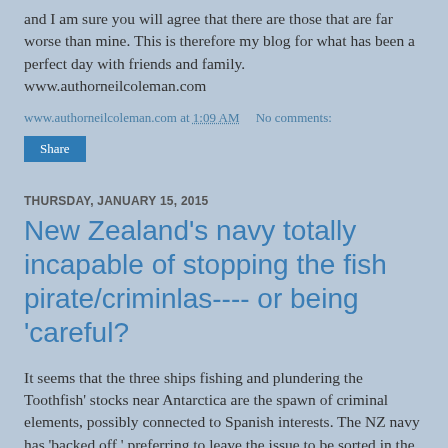and I am sure you will agree that there are those that are far worse than mine. This is therefore my blog for what has been a perfect day with friends and family. www.authorneilcoleman.com
www.authorneilcoleman.com at 1:09 AM    No comments:
Share
THURSDAY, JANUARY 15, 2015
New Zealand's navy totally incapable of stopping the fish pirate/criminlas---- or being 'careful?
It seems that the three ships fishing and plundering the Toothfish' stocks near Antarctica are the spawn of criminal elements, possibly connected to Spanish interests. The NZ navy has 'backed off,' preferring to leave the issue to be sorted in the 'courts.' The fact is that our navy does not have the 'oomph' to take these low lifes on! It seems that the Sea Sheppard is going to take them on, putting itself in danger